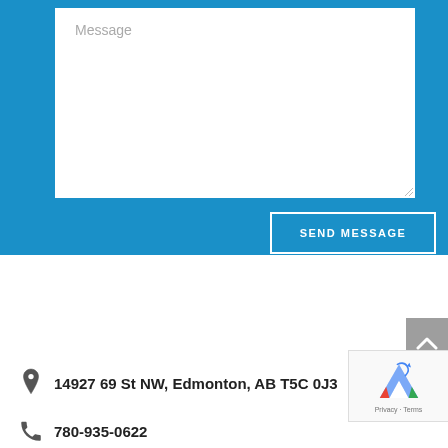[Figure (screenshot): Blue contact form section with a white message textarea and a 'SEND MESSAGE' button with white border on blue background]
Message
SEND MESSAGE
14927 69 St NW, Edmonton, AB T5C 0J3
780-935-0622
[Figure (logo): reCAPTCHA badge with logo and Privacy · Terms text]